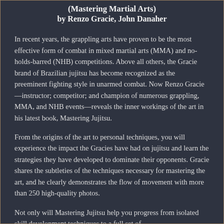(Mastering Martial Arts) by Renzo Gracie, John Danaher
In recent years, the grappling arts have proven to be the most effective form of combat in mixed martial arts (MMA) and no-holds-barred (NHB) competitions. Above all others, the Gracie brand of Brazilian jujitsu has become recognized as the preeminent fighting style in unarmed combat. Now Renzo Gracie—instructor; competitor; and champion of numerous grappling, MMA, and NHB events—reveals the inner workings of the art in his latest book, Mastering Jujitsu.
From the origins of the art to personal techniques, you will experience the impact the Gracies have had on jujitsu and learn the strategies they have developed to dominate their opponents. Gracie shares the subtleties of the techniques necessary for mastering the art, and he clearly demonstrates the flow of movement with more than 250 high-quality photos.
Not only will Mastering Jujitsu help you progress from isolated skill development techniques to a full set of